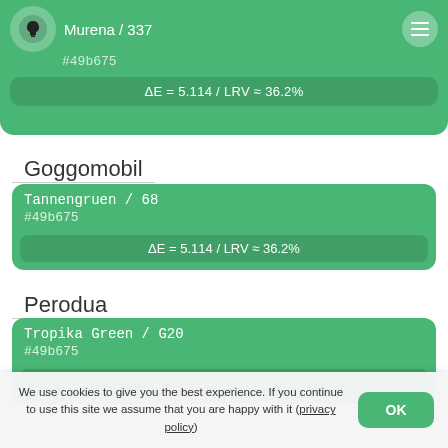Murena / 337 #49b675 ΔE = 5.114 / LRV ≈ 36.2%
Goggomobil
Tannengruen / 68 #49b675 ΔE = 5.114 / LRV ≈ 36.2%
Perodua
Tropika Green / G20 #49b675 ΔE = 5.114 / LRV ≈ 36.2%
International Harvister
Green No. 10 / U320 #49b675 ΔE = 5.114 / LRV ≈ 36.2%
We use cookies to give you the best experience. If you continue to use this site we assume that you are happy with it (privacy policy)